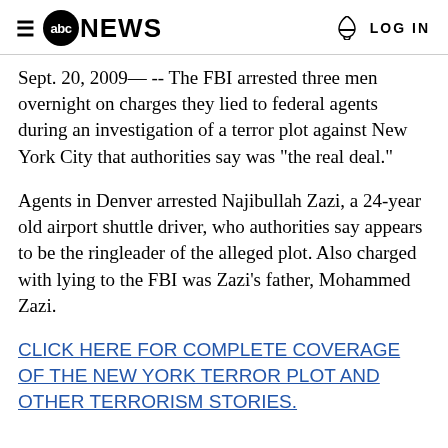≡ abcNEWS  🔔 LOG IN
Sept. 20, 2009— -- The FBI arrested three men overnight on charges they lied to federal agents during an investigation of a terror plot against New York City that authorities say was "the real deal."
Agents in Denver arrested Najibullah Zazi, a 24-year old airport shuttle driver, who authorities say appears to be the ringleader of the alleged plot. Also charged with lying to the FBI was Zazi's father, Mohammed Zazi.
CLICK HERE FOR COMPLETE COVERAGE OF THE NEW YORK TERROR PLOT AND OTHER TERRORISM STORIES.